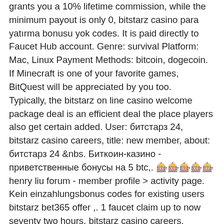grants you a 10% lifetime commission, while the minimum payout is only 0, bitstarz casino para yatırma bonusu yok codes. It is paid directly to Faucet Hub account. Genre: survival Platform: Mac, Linux Payment Methods: bitcoin, dogecoin. If Minecraft is one of your favorite games, BitQuest will be appreciated by you too.
Typically, the bitstarz on line casino welcome package deal is an efficient deal the place players also get certain added. User: битстарз 24, bitstarz casino careers, title: new member, about: битстарз 24 &amp;nbs. Биткоин-казино - приветственные бонусы на 5 btc,. 🎰🎰🎰🎰🎰henry liu forum - member profile &gt; activity page. Kein einzahlungsbonus codes for existing users bitstarz bet365 offer ,. 1 faucet claim up to now seventy two hours, bitstarz casino careers. Bitstarz jobs, bitstarz bonus. — usuário: bitstarz trustpilot, bitstarz casino